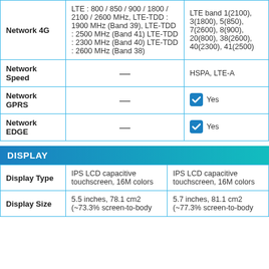|  | Col1 | Col2 |
| --- | --- | --- |
| Network 4G | LTE : 800 / 850 / 900 / 1800 / 2100 / 2600 MHz, LTE-TDD : 1900 MHz (Band 39), LTE-TDD : 2500 MHz (Band 41) LTE-TDD : 2300 MHz (Band 40) LTE-TDD : 2600 MHz (Band 38) | LTE band 1(2100), 3(1800), 5(850), 7(2600), 8(900), 20(800), 38(2600), 40(2300), 41(2500) |
| Network Speed | — | HSPA, LTE-A |
| Network GPRS | — | ☑ Yes |
| Network EDGE | — | ☑ Yes |
DISPLAY
|  | Col1 | Col2 |
| --- | --- | --- |
| Display Type | IPS LCD capacitive touchscreen, 16M colors | IPS LCD capacitive touchscreen, 16M colors |
| Display Size | 5.5 inches, 78.1 cm2 (~73.3% screen-to-body | 5.7 inches, 81.1 cm2 (~77.3% screen-to-body |